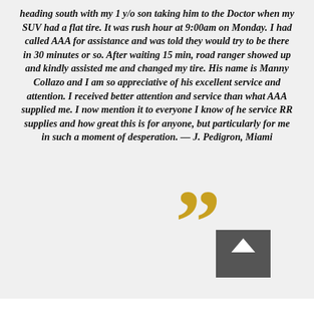heading south with my 1 y/o son taking him to the Doctor when my SUV had a flat tire. It was rush hour at 9:00am on Monday. I had called AAA for assistance and was told they would try to be there in 30 minutes or so. After waiting 15 min, road ranger showed up and kindly assisted me and changed my tire. His name is Manny Collazo and I am so appreciative of his excellent service and attention. I received better attention and service than what AAA supplied me. I now mention it to everyone I know of he service RR supplies and how great this is for anyone, but particularly for me in such a moment of desperation. — J. Pedigron, Miami
[Figure (illustration): Large golden/yellow closing quotation marks decorative element, with a dark gray square button containing an upward-pointing arrow beneath it]